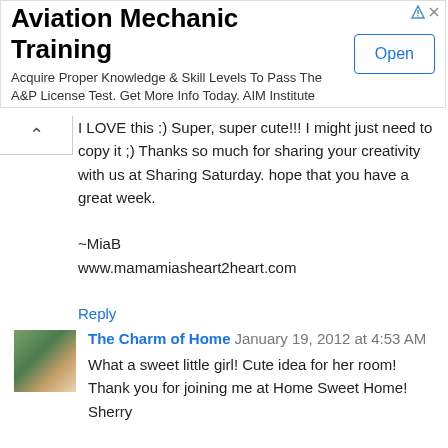[Figure (other): Advertisement banner for Aviation Mechanic Training with Open button]
I LOVE this :) Super, super cute!!! I might just need to copy it ;) Thanks so much for sharing your creativity with us at Sharing Saturday. hope that you have a great week.

~MiaB
www.mamamiasheart2heart.com
Reply
The Charm of Home  January 19, 2012 at 4:53 AM
What a sweet little girl! Cute idea for her room! Thank you for joining me at Home Sweet Home!
Sherry
Reply